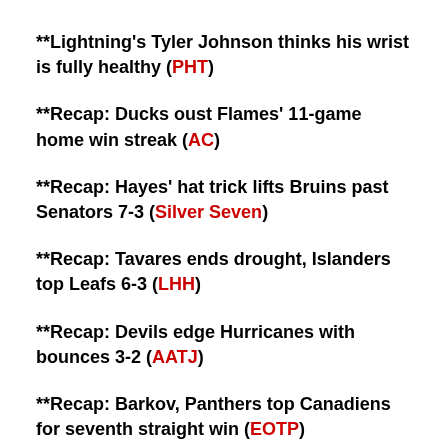**Lightning's Tyler Johnson thinks his wrist is fully healthy (PHT)
**Recap: Ducks oust Flames' 11-game home win streak (AC)
**Recap: Hayes' hat trick lifts Bruins past Senators 7-3 (Silver Seven)
**Recap: Tavares ends drought, Islanders top Leafs 6-3 (LHH)
**Recap: Devils edge Hurricanes with bounces 3-2 (AATJ)
**Recap: Barkov, Panthers top Canadiens for seventh straight win (EOTP)